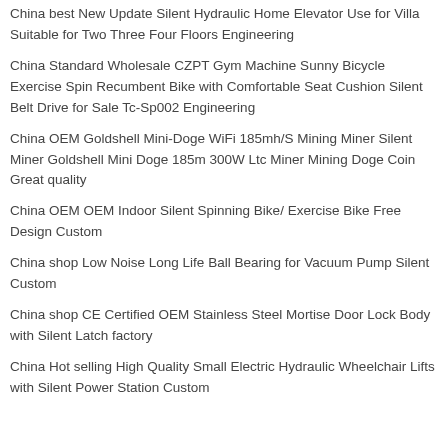China best New Update Silent Hydraulic Home Elevator Use for Villa Suitable for Two Three Four Floors Engineering
China Standard Wholesale CZPT Gym Machine Sunny Bicycle Exercise Spin Recumbent Bike with Comfortable Seat Cushion Silent Belt Drive for Sale Tc-Sp002 Engineering
China OEM Goldshell Mini-Doge WiFi 185mh/S Mining Miner Silent Miner Goldshell Mini Doge 185m 300W Ltc Miner Mining Doge Coin Great quality
China OEM OEM Indoor Silent Spinning Bike/ Exercise Bike Free Design Custom
China shop Low Noise Long Life Ball Bearing for Vacuum Pump Silent Custom
China shop CE Certified OEM Stainless Steel Mortise Door Lock Body with Silent Latch factory
China Hot selling High Quality Small Electric Hydraulic Wheelchair Lifts with Silent Power Station Custom